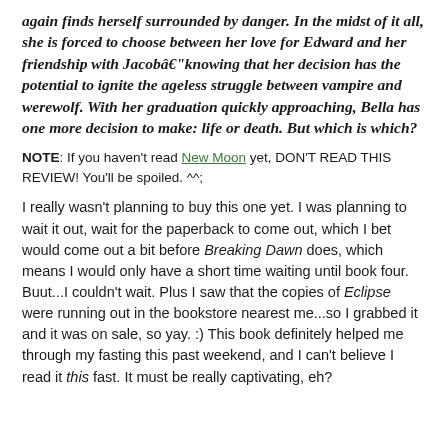again finds herself surrounded by danger. In the midst of it all, she is forced to choose between her love for Edward and her friendship with Jacobâ€“knowing that her decision has the potential to ignite the ageless struggle between vampire and werewolf. With her graduation quickly approaching, Bella has one more decision to make: life or death. But which is which?
NOTE: If you haven't read New Moon yet, DON'T READ THIS REVIEW! You'll be spoiled. ^^;
I really wasn't planning to buy this one yet. I was planning to wait it out, wait for the paperback to come out, which I bet would come out a bit before Breaking Dawn does, which means I would only have a short time waiting until book four. Buut...I couldn't wait. Plus I saw that the copies of Eclipse were running out in the bookstore nearest me...so I grabbed it and it was on sale, so yay. :) This book definitely helped me through my fasting this past weekend, and I can't believe I read it this fast. It must be really captivating, eh?